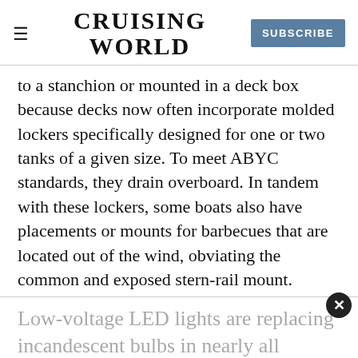CRUISING WORLD | SUBSCRIBE
to a stanchion or mounted in a deck box because decks now often incorporate molded lockers specifically designed for one or two tanks of a given size. To meet ABYC standards, they drain overboard. In tandem with these lockers, some boats also have placements or mounts for barbecues that are located out of the wind, obviating the common and exposed stern-rail mount.
Low-voltage LED lights are replacing incandescent bulbs in nearly all